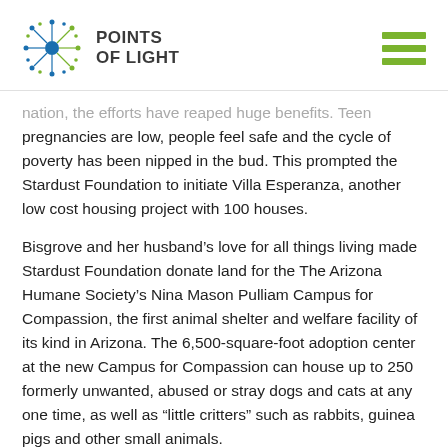Points of Light
nation, the efforts have reaped huge benefits. Teen pregnancies are low, people feel safe and the cycle of poverty has been nipped in the bud. This prompted the Stardust Foundation to initiate Villa Esperanza, another low cost housing project with 100 houses.
Bisgrove and her husband’s love for all things living made Stardust Foundation donate land for the The Arizona Humane Society’s Nina Mason Pulliam Campus for Compassion, the first animal shelter and welfare facility of its kind in Arizona. The 6,500-square-foot adoption center at the new Campus for Compassion can house up to 250 formerly unwanted, abused or stray dogs and cats at any one time, as well as “little critters” such as rabbits, guinea pigs and other small animals.